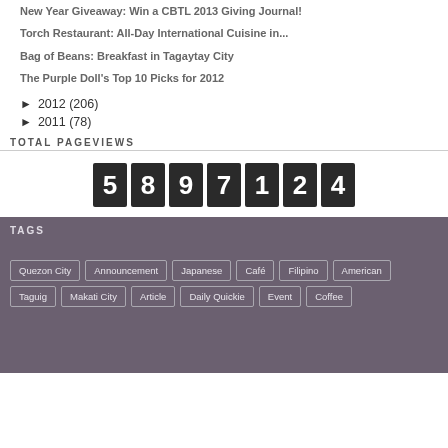New Year Giveaway: Win a CBTL 2013 Giving Journal!
Torch Restaurant: All-Day International Cuisine in...
Bag of Beans: Breakfast in Tagaytay City
The Purple Doll's Top 10 Picks for 2012
► 2012 (206)
► 2011 (78)
TOTAL PAGEVIEWS
[Figure (other): Odometer-style page view counter showing the number 5897124]
TAGS
Quezon City
Announcement
Japanese
Café
Filipino
American
Taguig
Makati City
Article
Daily Quickie
Event
Coffee